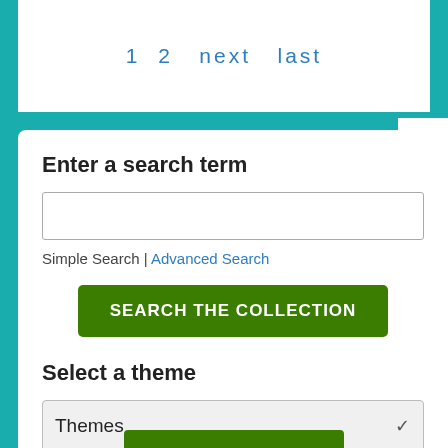1  2  next  last
Enter a search term
Simple Search | Advanced Search
SEARCH THE COLLECTION
Select a theme
Themes